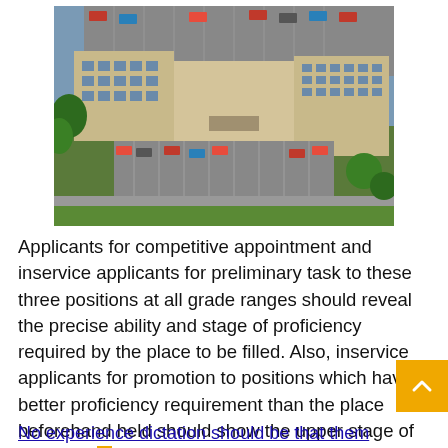[Figure (photo): Aerial view of a hospital building complex with parking lots and surrounding greenery.]
Applicants for competitive appointment and inservice applicants for preliminary task to these three positions at all grade ranges should reveal the precise ability and stage of proficiency required by the place to be filled. Also, inservice applicants for promotion to positions which have a better proficiency requirement than the place beforehand held should show the upper stage of proficiency. Applicants may reveal that proficiency by both.